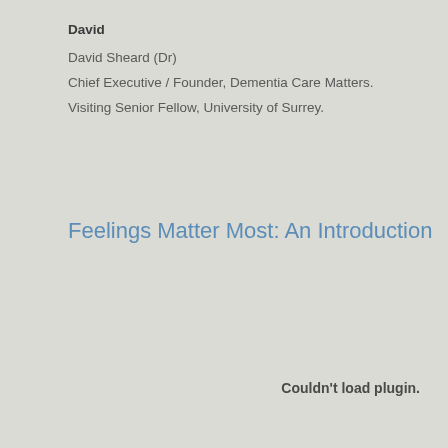David
David Sheard (Dr)
Chief Executive / Founder, Dementia Care Matters.
Visiting Senior Fellow, University of Surrey.
Feelings Matter Most: An Introduction
Couldn't load plugin.